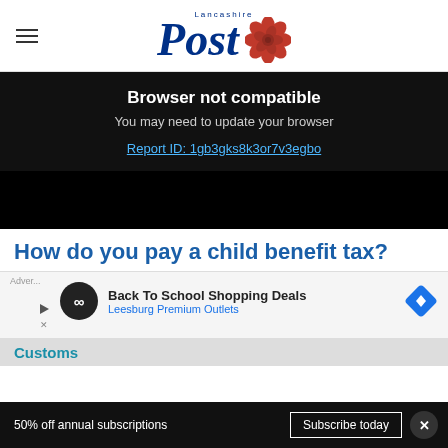Lancashire Post
Browser not compatible
You may need to update your browser
Report ID: 1gb3gks8k3or7v3egbo
[Figure (screenshot): Black video player area showing browser not compatible message]
How do you pay a child benefit tax?
[Figure (other): Advertisement: Back To School Shopping Deals - Leesburg Premium Outlets]
50% off annual subscriptions  Subscribe today